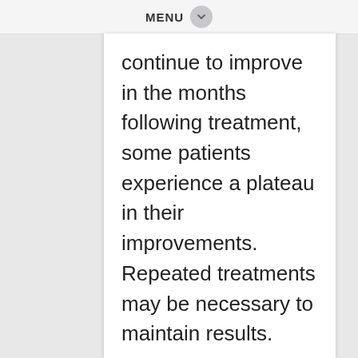MENU
continue to improve in the months following treatment, some patients experience a plateau in their improvements. Repeated treatments may be necessary to maintain results.